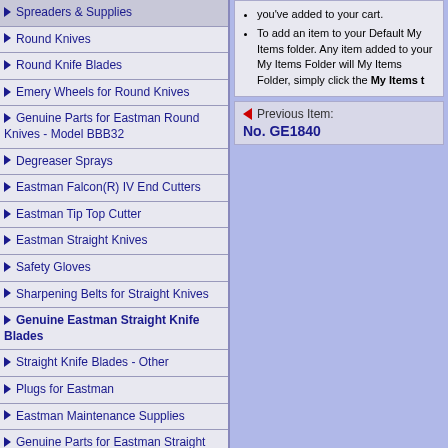Spreaders & Supplies
Round Knives
Round Knife Blades
Emery Wheels for Round Knives
Genuine Parts for Eastman Round Knives - Model BBB32
Degreaser Sprays
Eastman Falcon(R) IV End Cutters
Eastman Tip Top Cutter
Eastman Straight Knives
Safety Gloves
Sharpening Belts for Straight Knives
Genuine Eastman Straight Knife Blades
Straight Knife Blades - Other
Plugs for Eastman
Eastman Maintenance Supplies
Genuine Parts for Eastman Straight Knives - Model 627X Brute and Model 629X Blue Streak II
Popular Generic Parts For Eastman Straight Knives
Cloth Drill Markers
you've added to your cart. To add an item to your Default My Items folder, Any item added to your My Items Folder will My Items Folder, simply click the My Items t
Previous Item: No. GE1840